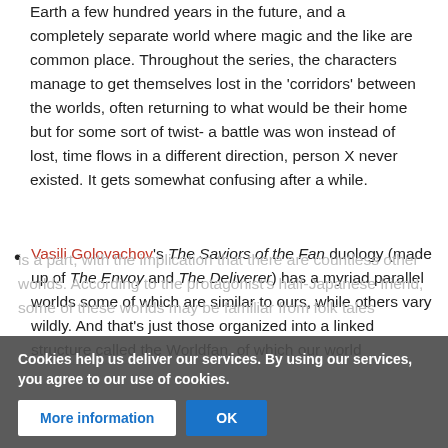Earth a few hundred years in the future, and a completely separate world where magic and the like are common place. Throughout the series, the characters manage to get themselves lost in the 'corridors' between the worlds, often returning to what would be their home but for some sort of twist- a battle was won instead of lost, time flows in a different direction, person X never existed. It gets somewhat confusing after a while.
Vasili Golovachov's The Saviors of the Fan duology (made up of The Envoy and The Deliverer) has a myriad parallel worlds some of which are similar to ours, while others vary wildly. And that's just those organized into a linked structure called the Worldfan, of which our world is a part, with the implication that there are countless other worlds. According to the protagonist's half-Japanese friend, some of these worlds may be familiar from folk tales and mythology in our novels, as
Cookies help us deliver our services. By using our services, you agree to our use of cookies.